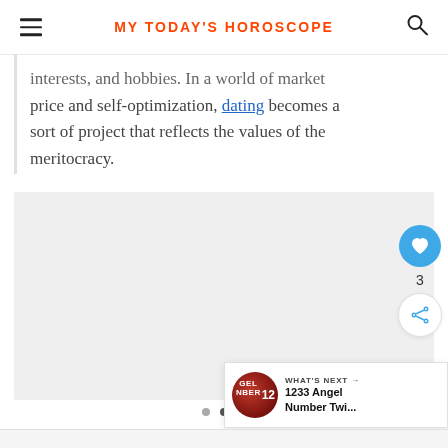MY TODAY'S HOROSCOPE
interests, and hobbies. In a world of market price and self-optimization, dating becomes a sort of project that reflects the values of the meritocracy.
[Figure (photo): Image placeholder area (gray rectangle) for an article image, with dot navigation indicators below.]
WHAT'S NEXT → 1233 Angel Number Twi...